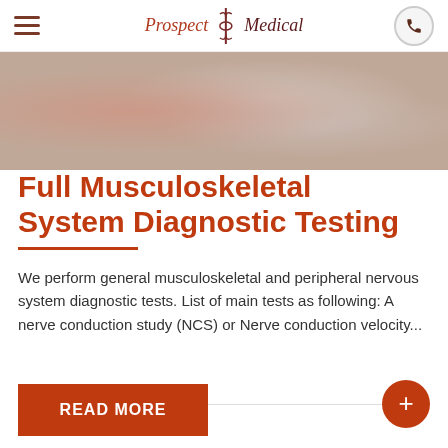Prospect Medical
[Figure (photo): Medical illustration of the human musculoskeletal and spinal system, showing muscles and vertebrae in pink/beige tones]
Full Musculoskeletal System Diagnostic Testing
We perform general musculoskeletal and peripheral nervous system diagnostic tests. List of main tests as following: A nerve conduction study (NCS) or Nerve conduction velocity...
READ MORE